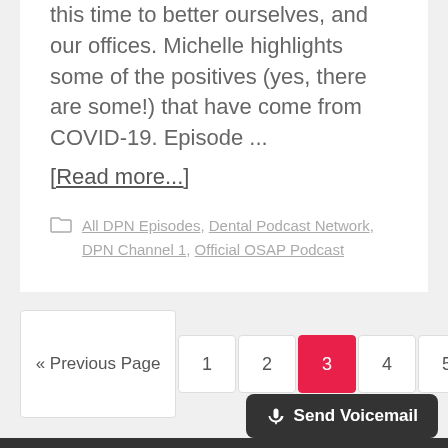this time to better ourselves, and our offices. Michelle highlights some of the positives (yes, there are some!) that have come from COVID-19. Episode ...
[Read more...]
All DPN Episodes, Dental Podcast Network, DPN Channel 1, Official OSAP Podcast
« Previous Page 1 2 3 4 5 … 7 Next Page »
🎙 Send Voicemail